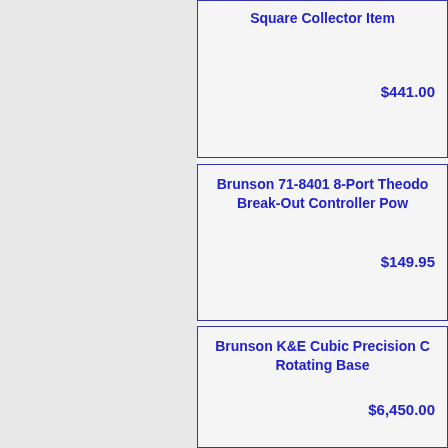Square Collector Item
$441.00
Brunson 71-8401 8-Port Theodo Break-Out Controller Pow
$149.95
Brunson K&E Cubic Precision C Rotating Base
$6,450.00
Standard Metrology Refurbished S Excellent Conditi
$3,550.00
Brunson Autocollimator Alignme